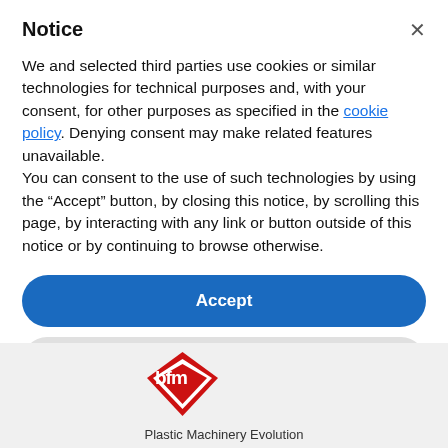Notice
We and selected third parties use cookies or similar technologies for technical purposes and, with your consent, for other purposes as specified in the cookie policy. Denying consent may make related features unavailable.
You can consent to the use of such technologies by using the “Accept” button, by closing this notice, by scrolling this page, by interacting with any link or button outside of this notice or by continuing to browse otherwise.
Accept
Learn more and customize
[Figure (logo): BFM diamond-shaped logo with red and white design, letters b, f, m inside. Below: 'Plastic Machinery Evolution']